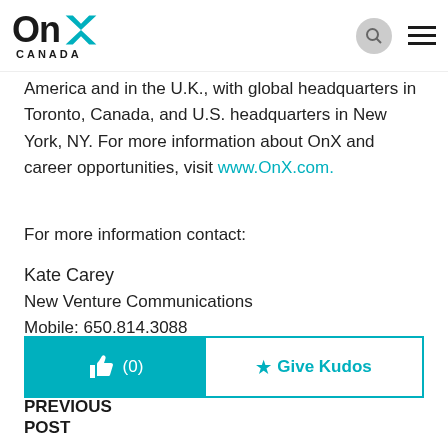OnX Canada
America and in the U.K., with global headquarters in Toronto, Canada, and U.S. headquarters in New York, NY. For more information about OnX and career opportunities, visit www.OnX.com.
For more information contact:
Kate Carey
New Venture Communications
Mobile: 650.814.3088
kcarey@newventurecom.com
[Figure (infographic): Kudos button bar with thumbs up icon showing (0) on teal background left side, and Give Kudos star button on white right side]
PREVIOUS POST